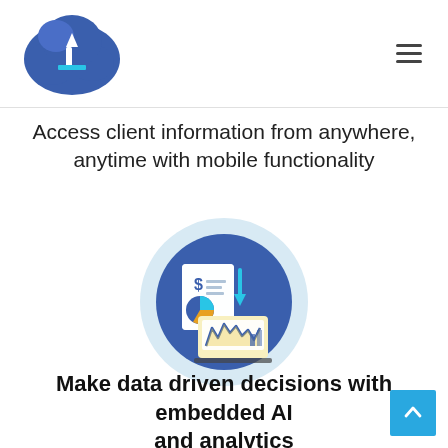[Figure (logo): Cloud-based CRM logo: blue cloud with white arrow icon]
Access client information from anywhere, anytime with mobile functionality
[Figure (illustration): Circular illustration on dark blue background showing a laptop with analytics charts and a document with dollar sign and pie chart, with down arrow, on light blue outer circle.]
Make data driven decisions with embedded AI and analytics